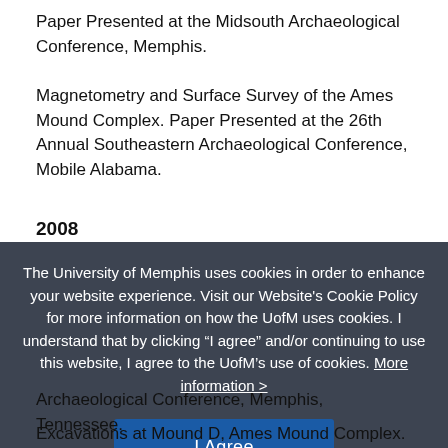Paper Presented at the Midsouth Archaeological Conference, Memphis.
Magnetometry and Surface Survey of the Ames Mound Complex. Paper Presented at the 26th Annual Southeastern Archaeological Conference, Mobile Alabama.
2008
The University of Memphis uses cookies in order to enhance your website experience. Visit our Website's Cookie Policy for more information on how the UofM uses cookies. I understand that by clicking “I agree” and/or continuing to use this website, I agree to the UofM’s use of cookies. More information >
Archaeological Conference, Memphis, Tennessee.
Excavations at Mound D, Ames Mound Complex. Paper